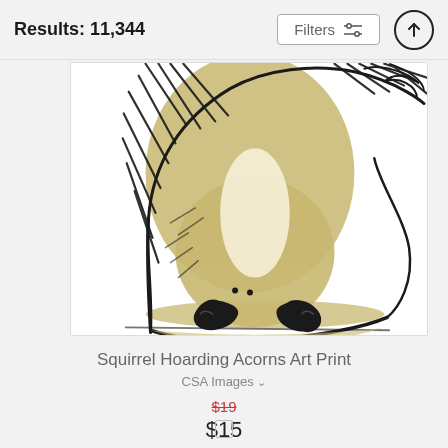Results: 11,344
[Figure (illustration): Partial view of a squirrel hoarding acorns art print — woodcut/linocut style illustration showing the lower body and feet of a large squirrel in black ink and olive/tan color on white background]
Squirrel Hoarding Acorns Art Print
CSA Images
$19
$15